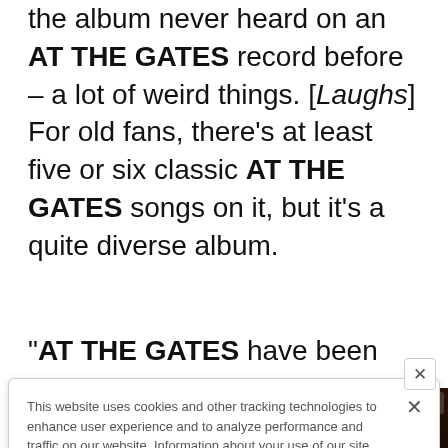the album never heard on an AT THE GATES record before – a lot of weird things. [Laughs] For old fans, there's at least five or six classic AT THE GATES songs on it, but it's a quite diverse album.
"AT THE GATES have been around for such a long
This website uses cookies and other tracking technologies to enhance user experience and to analyze performance and traffic on our website. Information about your use of our site may also be shared with social media, advertising, retail and analytics providers and partners. Privacy Policy
[Figure (screenshot): Advertisement banner for At The Gates concert: August 29 at The Fillmore Silver Spring]